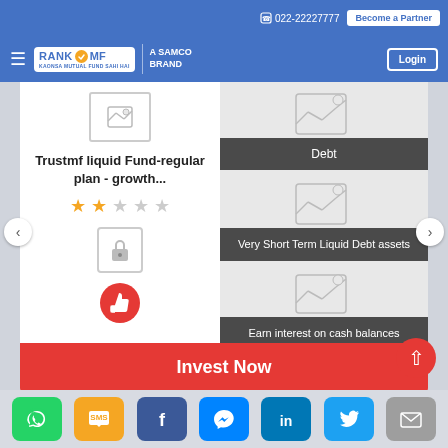022-22227777  Become a Partner
[Figure (logo): RankMF A Samco Brand logo with hamburger menu and Login button]
[Figure (illustration): Image placeholder icon top-left of card]
Trustmf liquid Fund-regular plan - growth...
[Figure (illustration): Star rating: 2 out of 5 stars]
[Figure (illustration): Lock icon placeholder]
[Figure (illustration): Dislike/thumbs-down red circle icon]
[Figure (illustration): Image placeholder top-right with Debt label overlay]
[Figure (illustration): Image placeholder middle-right with 'Very Short Term Liquid Debt assets' label overlay]
[Figure (illustration): Image placeholder bottom-right with 'Earn interest on cash balances' label overlay]
Invest Now
Social share icons: WhatsApp, SMS, Facebook, Messenger, LinkedIn, Twitter, Email